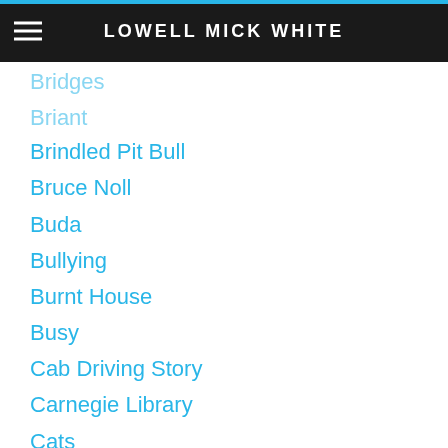LOWELL MICK WHITE
Brindled Pit Bull
Bruce Noll
Buda
Bullying
Burnt House
Busy
Cab Driving Story
Carnegie Library
Cats
Chance
Change
Chaos
Character
Chattanooga
Chekhov
Childhood
Child Labor